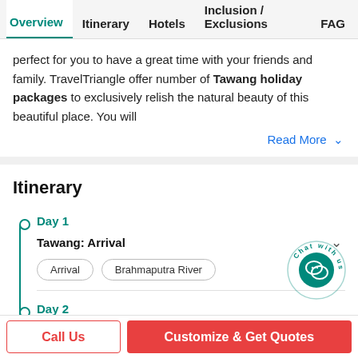Overview | Itinerary | Hotels | Inclusion / Exclusions | FAQ
perfect for you to have a great time with your friends and family. TravelTriangle offer number of Tawang holiday packages to exclusively relish the natural beauty of this beautiful place. You will
Read More
Itinerary
Day 1
Tawang: Arrival
Arrival
Brahmaputra River
Day 2